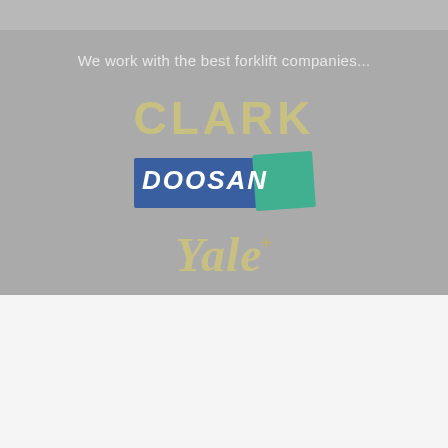We work with the best forklift companies...
[Figure (logo): CLARK forklift brand logo in tan/gold color on gray background]
[Figure (logo): DOOSAN forklift brand logo with blue and teal rectangles and white italic text on gray background]
[Figure (logo): Yale forklift brand logo in tan/gold italic serif font on gray background]
Forklift Dealer In River Ridge